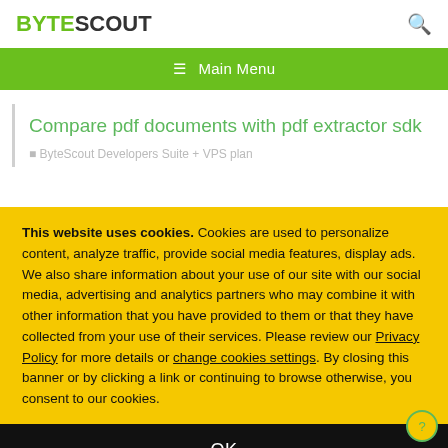BYTESCOUT
☰  Main Menu
Compare pdf documents with pdf extractor sdk
ByteScout Developers Suite + VPS plan
This website uses cookies. Cookies are used to personalize content, analyze traffic, provide social media features, display ads. We also share information about your use of our site with our social media, advertising and analytics partners who may combine it with other information that you have provided to them or that they have collected from your use of their services. Please review our Privacy Policy for more details or change cookies settings. By closing this banner or by clicking a link or continuing to browse otherwise, you consent to our cookies.
OK